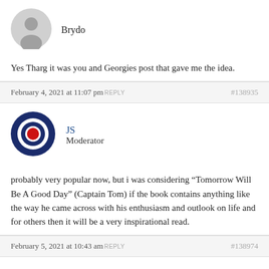[Figure (illustration): Grey default avatar icon (silhouette of a person)]
Brydo
Yes Tharg it was you and Georgies post that gave me the idea.
February 4, 2021 at 11:07 pm REPLY #138935
[Figure (illustration): Target/bullseye logo: white outer ring, dark navy ring, white ring, red center dot]
JS Moderator
probably very popular now, but i was considering “Tomorrow Will Be A Good Day” (Captain Tom) if the book contains anything like the way he came across with his enthusiasm and outlook on life and for others then it will be a very inspirational read.
February 5, 2021 at 10:43 am REPLY #138974